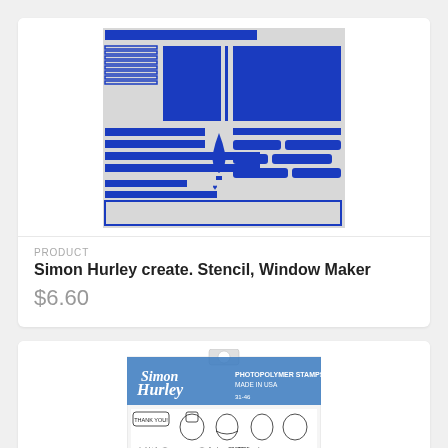[Figure (photo): Simon Hurley create. Stencil, Window Maker product image — a grey stencil sheet with blue cut-out rectangles, lines, ovals, brick shapes and other geometric forms arranged on a light grey background.]
PRODUCT
Simon Hurley create. Stencil, Window Maker
$6.60
[Figure (photo): Simon Hurley create. Photopolymer stamp set featuring cartoon dog illustrations with sentiment text including 'Thank you!', 'you're a star!', 'I DUFF YOU', 'you're PAWSOME', 'happy bark-day!' and more.]